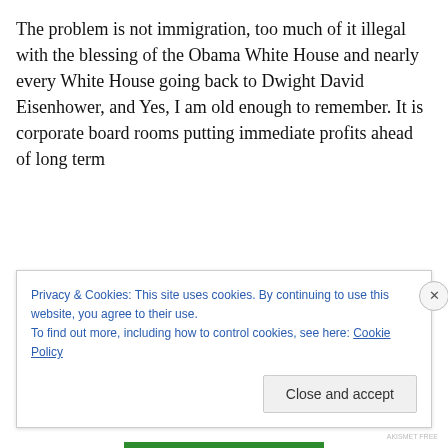The problem is not immigration, too much of it illegal with the blessing of the Obama White House and nearly every White House going back to Dwight David Eisenhower, and Yes, I am old enough to remember. It is corporate board rooms putting immediate profits ahead of long term
Privacy & Cookies: This site uses cookies. By continuing to use this website, you agree to their use.
To find out more, including how to control cookies, see here: Cookie Policy